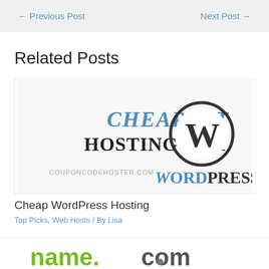← Previous Post    Next Post →
Related Posts
[Figure (illustration): Cheap WordPress Hosting promotional image with text 'CHEAPEST HOSTING FOR WORDPRESS' and WordPress logo, couponcodehoster.com]
Cheap WordPress Hosting
Top Picks, Web Hosts / By Lisa
[Figure (logo): name.com logo in green and grey text]